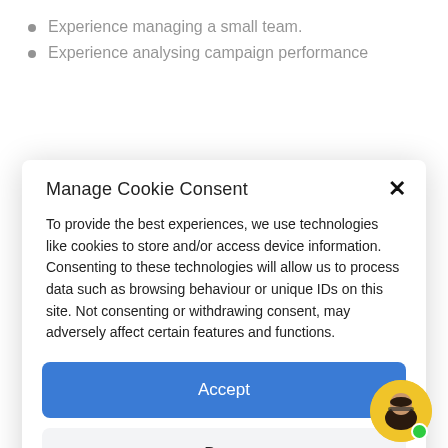Experience managing a small team.
Experience analysing campaign performance
Manage Cookie Consent
To provide the best experiences, we use technologies like cookies to store and/or access device information. Consenting to these technologies will allow us to process data such as browsing behaviour or unique IDs on this site. Not consenting or withdrawing consent, may adversely affect certain features and functions.
Accept
Deny
View preferences
Cookie Policy  Privacy Statement